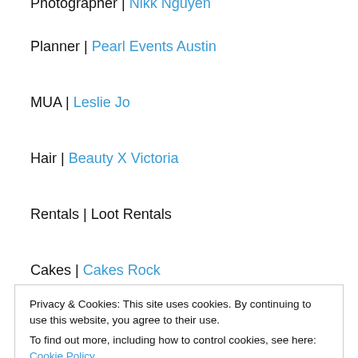Photographer | Nikk Nguyen
Planner | Pearl Events Austin
MUA | Leslie Jo
Hair | Beauty X Victoria
Rentals | Loot Rentals
Cakes | Cakes Rock
Privacy & Cookies: This site uses cookies. By continuing to use this website, you agree to their use. To find out more, including how to control cookies, see here: Cookie Policy
Boutique | Unbridaled